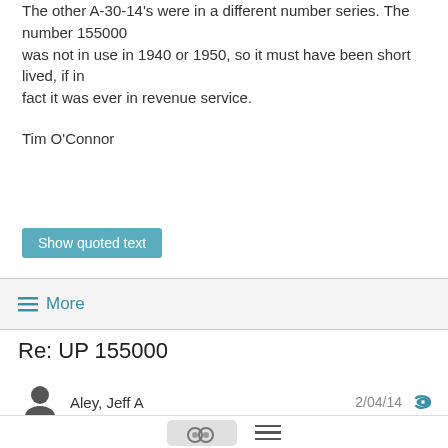The other A-30-14's were in a different number series. The number 155000 was not in use in 1940 or 1950, so it must have been short lived, if in fact it was ever in revenue service.
Tim O'Connor
Show quoted text
≡ More
Re: UP 155000
Aley, Jeff A  2/04/14
Brian,